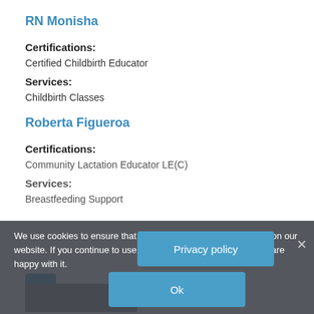RN Monisha
Certifications:
Certified Childbirth Educator
Services:
Childbirth Classes
Roberta Figueroa
Certifications:
Community Lactation Educator LE(C)
Services:
Breastfeeding Support
We use cookies to ensure that we give you the best experience on our website. If you continue to use this site we will assume that you are happy with it.
Privacy policy
Ok